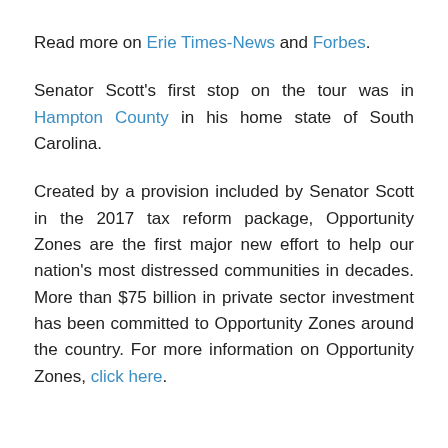Read more on Erie Times-News and Forbes.
Senator Scott's first stop on the tour was in Hampton County in his home state of South Carolina.
Created by a provision included by Senator Scott in the 2017 tax reform package, Opportunity Zones are the first major new effort to help our nation's most distressed communities in decades. More than $75 billion in private sector investment has been committed to Opportunity Zones around the country. For more information on Opportunity Zones, click here.